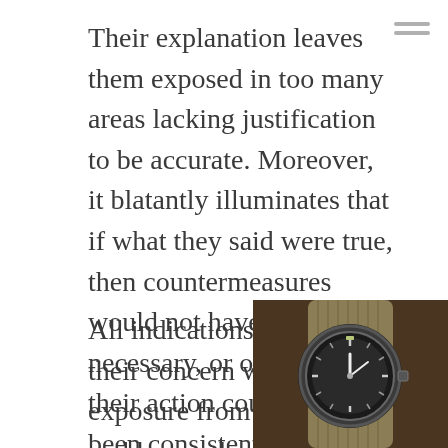Their explanation leaves them exposed in too many areas lacking justification to be accurate. Moreover, it blatantly illuminates that if what they said were true, then countermeasures would not have been necessary, or otherwise, their action could not have been consistent with their initial assertion.
All indications are that their concern was for exposure from Chauvin's reckless and willful misconduct, which left them assessing what they were part and parcel of was improper. Mr. Floyd needing medical attention could only be exacerbated by the distress inflicted upon him by Chauvin and their inaction.
[Figure (photo): Photo of a vintage wristwatch with a dark dial and a tan/olive NATO strap, positioned in the bottom-right corner of the page, partially overlapping the second paragraph of text.]